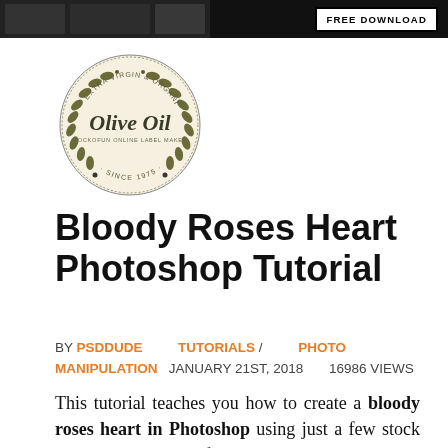[Figure (screenshot): Top banner with dark background image on left and FREE DOWNLOAD button on right]
[Figure (logo): Circular olive oil label logo with laurel wreath border, text reads Extra Virgin & Organic, Olive Oil, Mockofun Online Label Maker, Since 1975]
Bloody Roses Heart Photoshop Tutorial
BY PSDDUDE   TUTORIALS / PHOTO MANIPULATION   JANUARY 21ST, 2018   16986 VIEWS
This tutorial teaches you how to create a bloody roses heart in Photoshop using just a few stock images. We'll use of course red roses, medieval fantasy